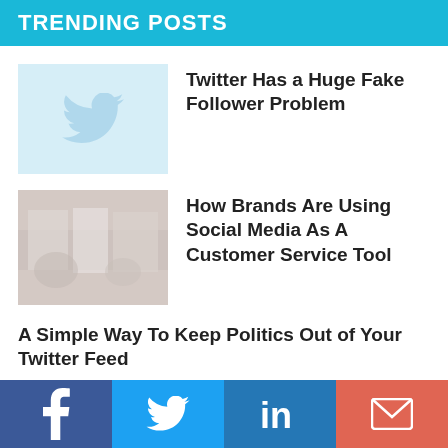TRENDING POSTS
[Figure (illustration): Light blue card with a white Twitter bird icon in the center]
Twitter Has a Huge Fake Follower Problem
[Figure (photo): Faded photo of people in a shop setting, light brownish-red tones]
How Brands Are Using Social Media As A Customer Service Tool
A Simple Way To Keep Politics Out of Your Twitter Feed
Facebook | Twitter | LinkedIn | Email (social share bar)